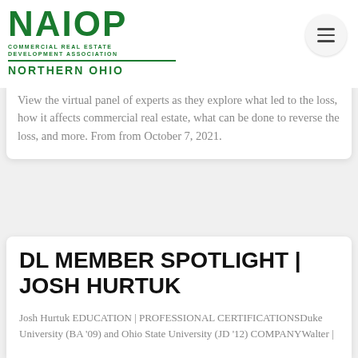NAIOP COMMERCIAL REAL ESTATE DEVELOPMENT ASSOCIATION NORTHERN OHIO
View the virtual panel of experts as they explore what led to the loss, how it affects commercial real estate, what can be done to reverse the loss, and more. From from October 7, 2021.
DL MEMBER SPOTLIGHT | JOSH HURTUK
Josh Hurtuk EDUCATION | PROFESSIONAL CERTIFICATIONSDuke University (BA '09) and Ohio State University (JD '12) COMPANYWalter |